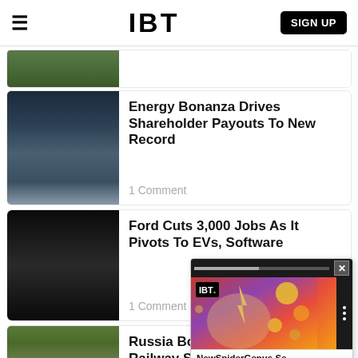IBT  SIGN UP
[Figure (photo): Partial news card thumbnail at top, partially visible green/outdoor scene]
Energy Bonanza Drives Shareholder Payouts To New Record
1 Comment
Ford Cuts 3,000 Jobs As It Pivots To EVs, Software
1 Comment
[Figure (screenshot): Video overlay showing IBT logo and thumbnail of colorful Ziggy Stardust-style face with bubbles, labeled 'NewSpiderGenus,Se...']
Russia Bombs Railway Station, 50 Injured: Zelensky
1 Comment
[Figure (photo): Partial thumbnail at bottom showing rubble/destruction scene]